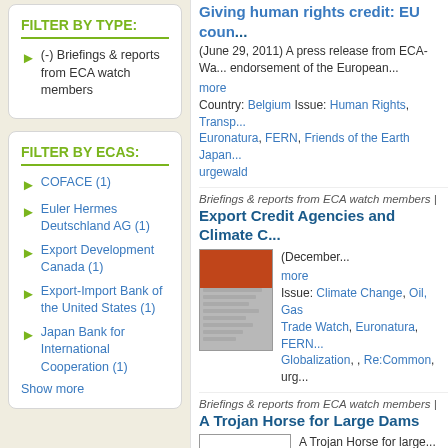FILTER BY TYPE:
(-) Briefings & reports from ECA watch members
FILTER BY ECAS:
COFACE (1)
Euler Hermes Deutschland AG (1)
Export Development Canada (1)
Export-Import Bank of the United States (1)
Japan Bank for International Cooperation (1)
Show more
Giving human rights credit: EU coun...
(June 29, 2011) A press release from ECA-Wa... endorsement of the European...
more
Country: Belgium Issue: Human Rights, Transp... Euronatura, FERN, Friends of the Earth Japan... urgewald
Briefings & reports from ECA watch members |
Export Credit Agencies and Climate C...
(December...
more
Issue: Climate Change, Oil, Gas Trade Watch, Euronatura, FERN... Globalization, , Re:Common, urg...
Briefings & reports from ECA watch members |
A Trojan Horse for Large Dams
A Trojan Horse for large...
more
Country: Turkey